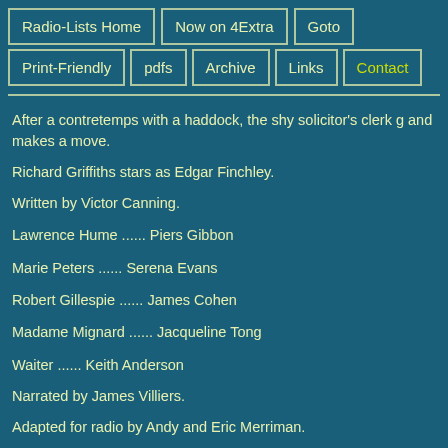Radio-Lists Home | Now on 4Extra | Goto | Print-Friendly | pdfs | Archive | Links | Contact
After a contretemps with a haddock, the shy solicitor's clerk g... and makes a move.
Richard Griffiths stars as Edgar Finchley.
Written by Victor Canning.
Lawrence Hume ...... Piers Gibbon
Marie Peters ...... Serena Evans
Robert Gillespie ...... James Cohen
Madame Mignard ...... Jacqueline Tong
Waiter ...... Keith Anderson
Narrated by James Villiers.
Adapted for radio by Andy and Eric Merriman.
Producer: Gareth Edwards